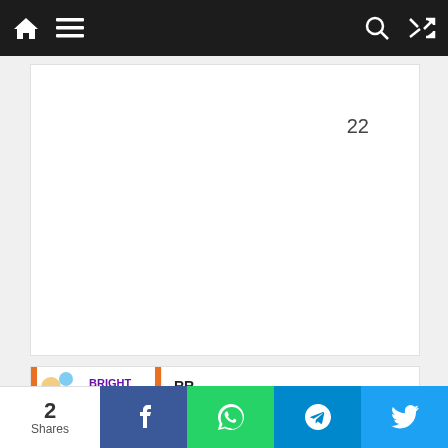Navigation bar with home, menu, search, and shuffle icons
22
[Figure (screenshot): RR Donnelley Bright Minds 2022 Mega Job Fest promotional banner image]
RR Donnelley – "BRIGHT MINDS 2022"
19/08/2022  0
[Figure (screenshot): Job listing card with Malayalam text, bullet points: OFFICE ASSISTANT, HOUSE KEEPING ST...]
OFFICE ASSISTANT
HOUSE KEEPING ST...
COCHIN SHIPYARD LIMITED
2 Shares | Facebook | WhatsApp | Telegram | Twitter